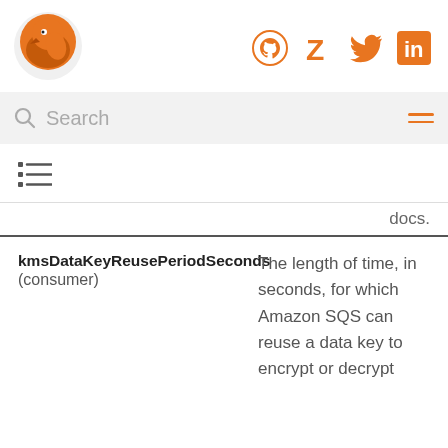[Figure (logo): Orange fox/bird logo]
[Figure (infographic): Social icons: GitHub, Zulip, Twitter, LinkedIn in orange]
[Figure (infographic): Search bar with magnifying glass icon and hamburger menu]
[Figure (infographic): Table of contents icon (list icon)]
docs.
kmsDataKeyReusePeriodSeconds (consumer) — The length of time, in seconds, for which Amazon SQS can reuse a data key to encrypt or decrypt